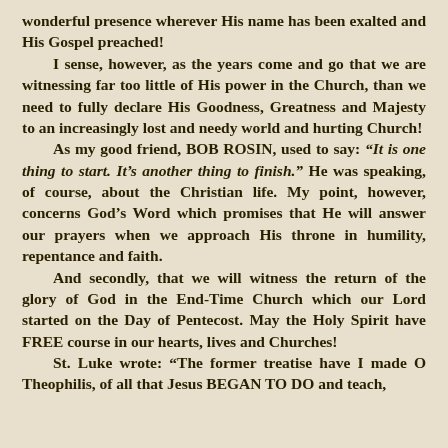wonderful presence wherever His name has been exalted and His Gospel preached! I sense, however, as the years come and go that we are witnessing far too little of His power in the Church, than we need to fully declare His Goodness, Greatness and Majesty to an increasingly lost and needy world and hurting Church! As my good friend, BOB ROSIN, used to say: “It is one thing to start. It’s another thing to finish.” He was speaking, of course, about the Christian life. My point, however, concerns God’s Word which promises that He will answer our prayers when we approach His throne in humility, repentance and faith. And secondly, that we will witness the return of the glory of God in the End-Time Church which our Lord started on the Day of Pentecost. May the Holy Spirit have FREE course in our hearts, lives and Churches! St. Luke wrote: “The former treatise have I made O Theophilis, of all that Jesus BEGAN TO DO and teach,